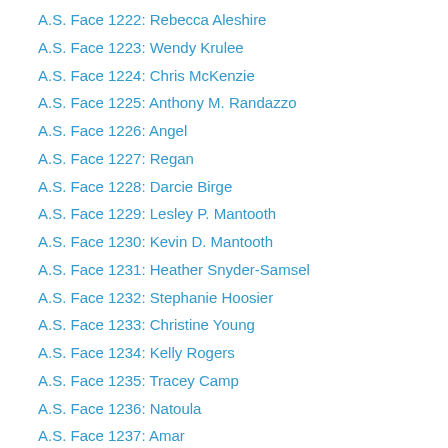A.S. Face 1222: Rebecca Aleshire
A.S. Face 1223: Wendy Krulee
A.S. Face 1224: Chris McKenzie
A.S. Face 1225: Anthony M. Randazzo
A.S. Face 1226: Angel
A.S. Face 1227: Regan
A.S. Face 1228: Darcie Birge
A.S. Face 1229: Lesley P. Mantooth
A.S. Face 1230: Kevin D. Mantooth
A.S. Face 1231: Heather Snyder-Samsel
A.S. Face 1232: Stephanie Hoosier
A.S. Face 1233: Christine Young
A.S. Face 1234: Kelly Rogers
A.S. Face 1235: Tracey Camp
A.S. Face 1236: Natoula
A.S. Face 1237: Amar
A.S. Face 1238: Randy Welch
A.S. Face 1239: Shawna
A.S. Face 1240: Kelly Gordon
A.S. Face 1241: Kesha